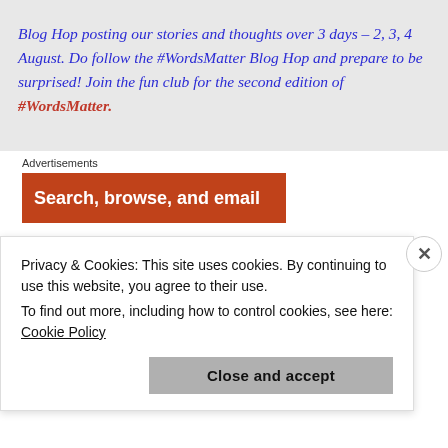at @shaizmojo. There are 47 of us on this Blog Hop posting our stories and thoughts over 3 days – 2, 3, 4 August. Do follow the #WordsMatter Blog Hop and prepare to be surprised! Join the fun club for the second edition of #WordsMatter.
Advertisements
[Figure (other): Orange advertisement banner with text 'Search, browse, and email']
Privacy & Cookies: This site uses cookies. By continuing to use this website, you agree to their use. To find out more, including how to control cookies, see here: Cookie Policy
Close and accept